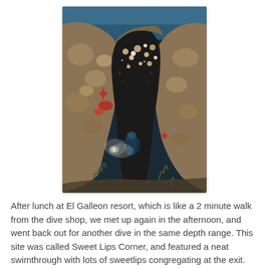[Figure (photo): Underwater photograph showing a scuba diver with a torch light entering or exiting a rocky cave/swimthrough. The rocky walls are covered with coral, sponges, and marine organisms including red starfish. The diver is visible in the lower-center of the image, illuminated by their dive light.]
After lunch at El Galleon resort, which is like a 2 minute walk from the dive shop, we met up again in the afternoon, and went back out for another dive in the same depth range. This site was called Sweet Lips Corner, and featured a neat swimthrough with lots of sweetlips congregating at the exit.